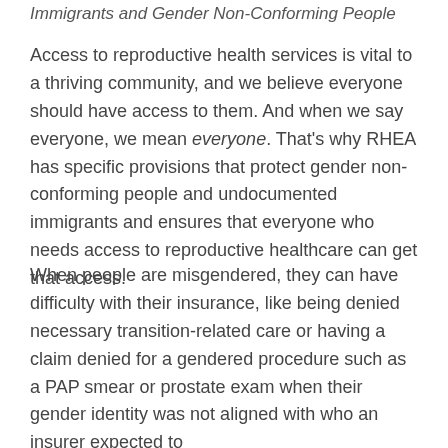Immigrants and Gender Non-Conforming People
Access to reproductive health services is vital to a thriving community, and we believe everyone should have access to them. And when we say everyone, we mean everyone. That's why RHEA has specific provisions that protect gender non-conforming people and undocumented immigrants and ensures that everyone who needs access to reproductive healthcare can get that access.
When people are misgendered, they can have difficulty with their insurance, like being denied necessary transition-related care or having a claim denied for a gendered procedure such as a PAP smear or prostate exam when their gender identity was not aligned with who an insurer expected to